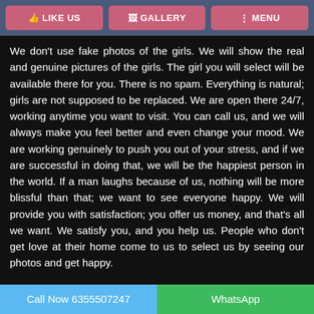LIKE US  GALLERY  MENU
We don't use fake photos of the girls. We will show the real and genuine pictures of the girls. The girl you will select will be available there for you. There is no spam. Everything is natural; girls are not supposed to be replaced. We are open there 24/7, working anytime you want to visit. You can call us, and we will always make you feel better and even change your mood. We are working genuinely to push you out of your stress, and if we are successful in doing that, we will be the happiest person in the world. If a man laughs because of us, nothing will be more blissful than that; we want to see everyone happy. We will provide you with satisfaction; you offer us money, and that's all we want. We satisfy you, and you help us. People who don't get love at their home come to us to select us by seeing our photos and get happy.
Experience the safe and hygienic girls in your
Call Now 6355507247   WhatsApp